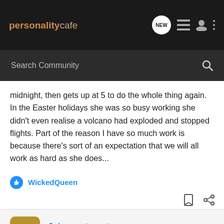personality cafe | NEW | [menu] [user] [more]
Search Community
midnight, then gets up at 5 to do the whole thing again. In the Easter holidays she was so busy working she didn't even realise a volcano had exploded and stopped flights. Part of the reason I have so much work is because there's sort of an expectation that we will all work as hard as she does...
WickedQueen
Jojo · Registered
Joined Jul 4, 2010 · 1,473 Posts
#3 · Aug 15, 2010
Yes! ENFJ! I can't say no and someone has to do it.....